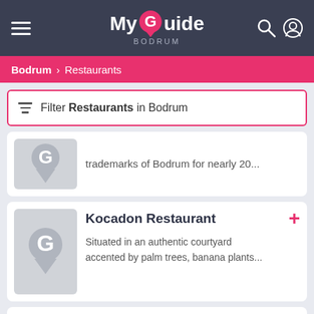My Guide BODRUM
Bodrum > Restaurants
Filter Restaurants in Bodrum
trademarks of Bodrum for nearly 20...
Kocadon Restaurant
Situated in an authentic courtyard accented by palm trees, banana plants...
Terzi Mustafanin Yeri Restaurant
Special Mediterranean and Aegean meals can be tested in this restaurant...............